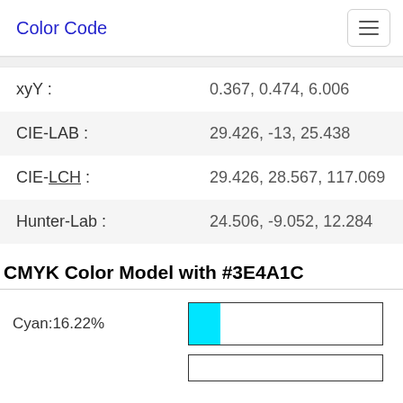Color Code
| Property | Value |
| --- | --- |
| xyY : | 0.367, 0.474, 6.006 |
| CIE-LAB : | 29.426, -13, 25.438 |
| CIE-LCH : | 29.426, 28.567, 117.069 |
| Hunter-Lab : | 24.506, -9.052, 12.284 |
CMYK Color Model with #3E4A1C
Cyan:16.22%
[Figure (infographic): Cyan color bar showing 16.22% fill with cyan color on left, rest white, bordered rectangle]